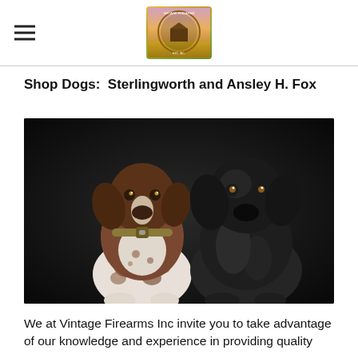Vintage Firearms Inc — logo and navigation
Shop Dogs:  Sterlingworth and Ansley H. Fox
[Figure (photo): Two dogs posed against a black background. On the left is a German Shorthaired Pointer (brown and white with spots, wearing a collar). On the right is a black Labrador Retriever. Both dogs are sitting and facing the camera.]
We at Vintage Firearms Inc invite you to take advantage of our knowledge and experience in providing quality